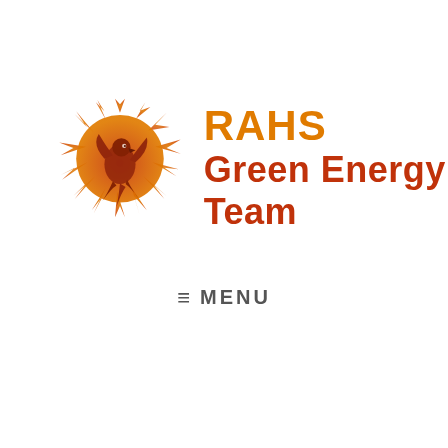[Figure (logo): RAHS Green Energy Team logo: a phoenix bird inside a sun with radiating flames, gradient from orange to dark red, with text 'RAHS' in orange and 'Green Energy Team' in dark red next to it.]
≡ MENU